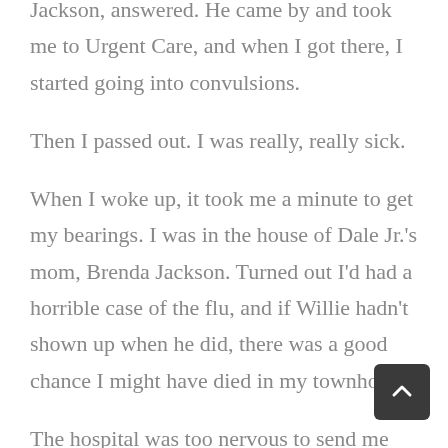Jackson, answered. He came by and took me to Urgent Care, and when I got there, I started going into convulsions.
Then I passed out. I was really, really sick.
When I woke up, it took me a minute to get my bearings. I was in the house of Dale Jr.'s mom, Brenda Jackson. Turned out I'd had a horrible case of the flu, and if Willie hadn't shown up when he did, there was a good chance I might have died in my townhome.
The hospital was too nervous to send me home alone, so Brenda and Willie took care of me at their home for a few confirmed days until we finally